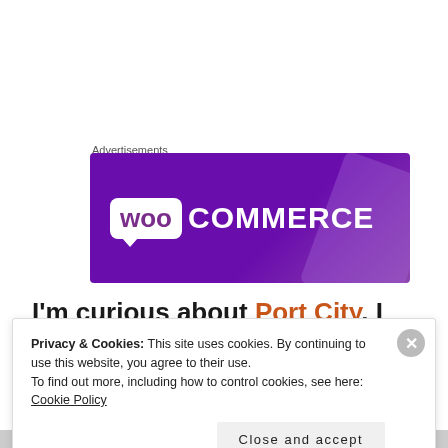Advertisements
[Figure (logo): WooCommerce advertisement banner with purple gradient background and white WooCommerce logo]
I'm curious about Port City. I want to buy this hat for my son for X-mas.
Privacy & Cookies: This site uses cookies. By continuing to use this website, you agree to their use. To find out more, including how to control cookies, see here: Cookie Policy
Close and accept